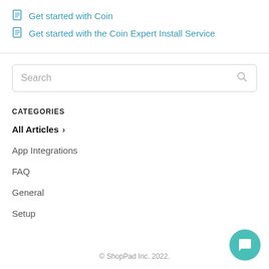Get started with Coin
Get started with the Coin Expert Install Service
Search
CATEGORIES
All Articles
App Integrations
FAQ
General
Setup
© ShopPad Inc. 2022.